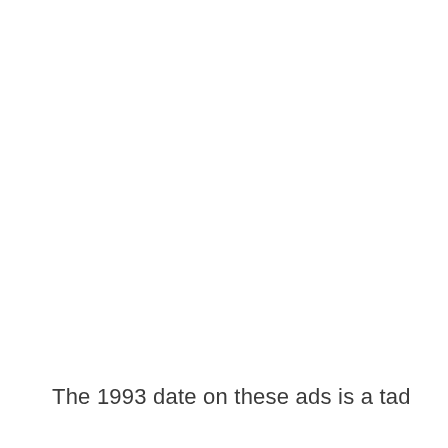The 1993 date on these ads is a tad